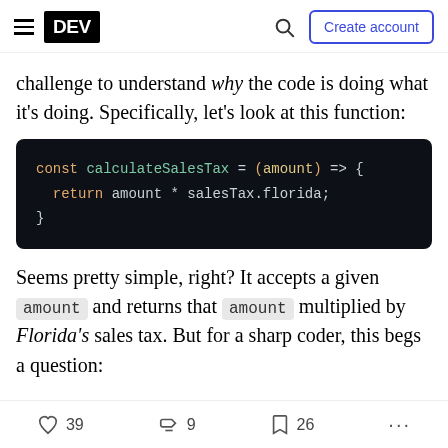DEV | Create account
challenge to understand why the code is doing what it's doing. Specifically, let's look at this function:
[Figure (screenshot): Code block showing JavaScript arrow function: const calculateSalesTax = (amount) => { return amount * salesTax.florida; }]
Seems pretty simple, right? It accepts a given amount and returns that amount multiplied by Florida's sales tax. But for a sharp coder, this begs a question:
Why have we hardcoded a sales tax number that
39  9  26  ...